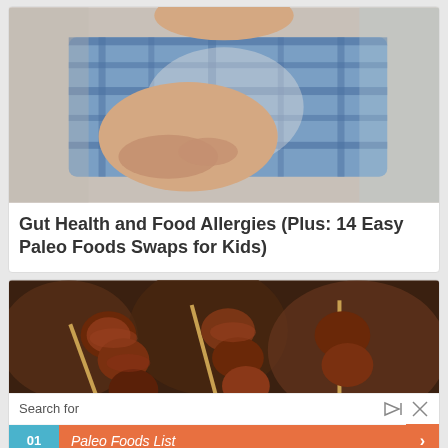[Figure (photo): Child lying down holding stomach, wearing blue plaid shirt]
Gut Health and Food Allergies (Plus: 14 Easy Paleo Foods Swaps for Kids)
[Figure (photo): Meat skewers/kebabs on a plate, food photography]
Search for
01 Paleo Foods List